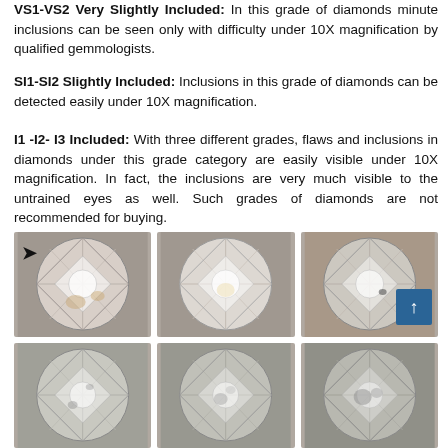VS1-VS2 Very Slightly Included: In this grade of diamonds minute inclusions can be seen only with difficulty under 10X magnification by qualified gemmologists.
SI1-SI2 Slightly Included: Inclusions in this grade of diamonds can be detected easily under 10X magnification.
I1 -I2- I3 Included: With three different grades, flaws and inclusions in diamonds under this grade category are easily visible under 10X magnification. In fact, the inclusions are very much visible to the untrained eyes as well. Such grades of diamonds are not recommended for buying.
[Figure (photo): Six photographs of round brilliant cut diamonds viewed from above, showing diamond clarity grades. Top row: three diamonds with varying inclusions visible, the first with a black arrow marker and the third with a scroll-up button overlay. Bottom row: three more diamonds at lower clarity grades.]